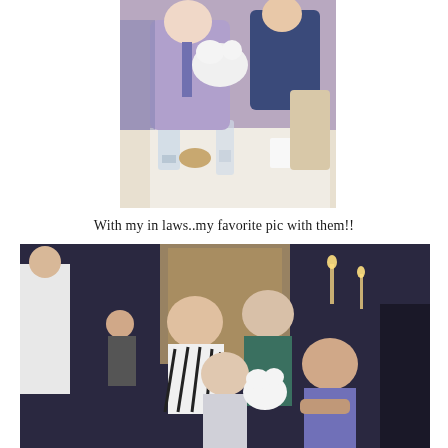[Figure (photo): Two people at a restaurant table holding a small white fluffy animal, with water glasses and place settings visible on the table.]
With my in laws..my favorite pic with them!!
[Figure (photo): Group photo of five people including a woman in zebra print, a bald older man, a younger man in a light suit, a young woman with dark hair in a purple dress, and a small white fluffy animal, taken at a restaurant or venue with decorative wallpaper in background.]